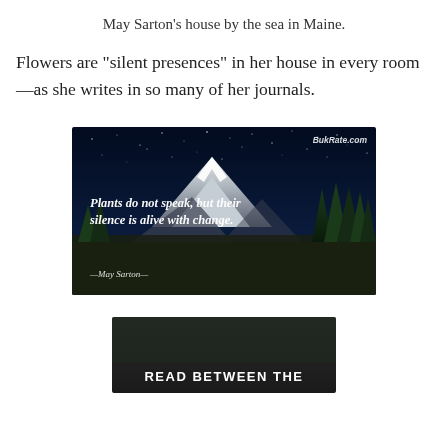May Sarton’s house by the sea in Maine.
Flowers are “silent presences” in her house in every room—as she writes in so many of her journals.
[Figure (illustration): A night landscape photo with a snowy mountain, dark blue starry sky, and evergreen trees. White italic bold text reads: 'Plants do not speak, but their silence is alive with change.' Attribution at bottom left: '—May Sarton—'. Watermark top right: 'BukRate.com']
[Figure (screenshot): A dark grey/charcoal image partially visible at the bottom, with white bold uppercase text reading 'READ BETWEEN THE']